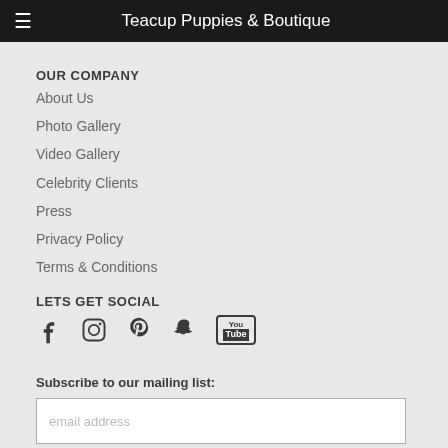Teacup Puppies & Boutique
OUR COMPANY
About Us
Photo Gallery
Video Gallery
Celebrity Clients
Press
Privacy Policy
Terms & Conditions
LETS GET SOCIAL
[Figure (illustration): Social media icons: Facebook, Instagram, Pinterest, Snapchat, YouTube]
Subscribe to our mailing list:
email address